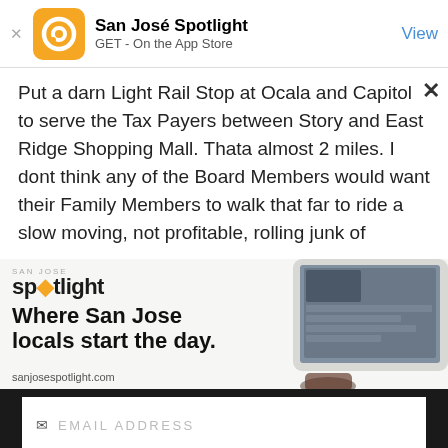[Figure (screenshot): App store banner for San José Spotlight showing yellow circular logo, app name 'San José Spotlight', subtitle 'GET - On the App Store', and 'View' button in blue]
Put a darn Light Rail Stop at Ocala and Capitol to serve the Tax Payers between Story and East Ridge Shopping Mall. Thata almost 2 miles. I dont think any of the Board Members would want their Family Members to walk that far to ride a slow moving, not profitable, rolling junk of
[Figure (advertisement): San José Spotlight advertisement showing logo, tagline 'Where San Jose locals start the day.' and website sanjosespotlight.com with tablet image]
[Figure (screenshot): Email subscription form with EMAIL ADDRESS field and SUBSCRIBE button on dark background, followed by 'Thanks, I'm not interested or already a subscriber' link in gold]